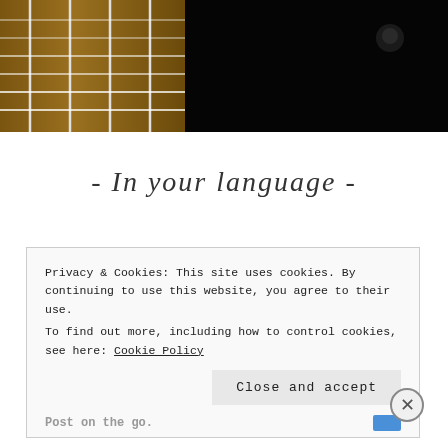[Figure (photo): Close-up photo of a guitar neck with strings on the left side, against a black background. A bird or small object is visible on the right side of the dark background.]
- In your language -
Privacy & Cookies: This site uses cookies. By continuing to use this website, you agree to their use.
To find out more, including how to control cookies, see here: Cookie Policy
Close and accept
Post on the go.